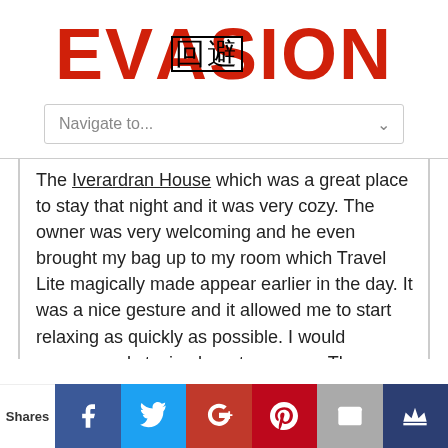EVASION (with kanji overlay 回避)
[Figure (other): Navigation dropdown selector with text 'Navigate to...' and chevron arrow]
The Iverardran House which was a great place to stay that night and it was very cozy. The owner was very welcoming and he even brought my bag up to my room which Travel Lite magically made appear earlier in the day. It was a nice gesture and it allowed me to start relaxing as quickly as possible. I would recommend staying here to anyone. The rooms are very nice and the breakfast in the
[Figure (infographic): Social share bar at bottom with Shares label, Facebook (blue), Twitter (light blue), Google+ (red), Pinterest (dark red), Email (gray), Crown (dark blue) buttons]